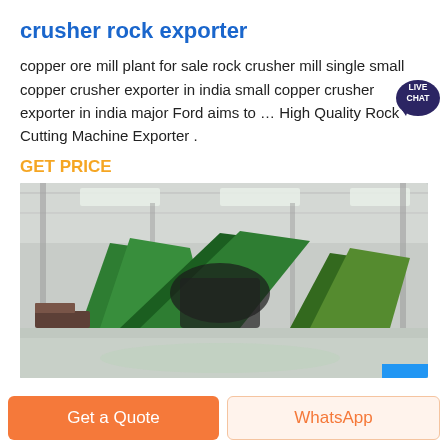crusher rock exporter
copper ore mill plant for sale rock crusher mill single small copper crusher exporter in india small copper crusher exporter in india major Ford aims to … High Quality Rock Cutting Machine Exporter .
GET PRICE
[Figure (photo): Industrial warehouse interior showing large green rock crushing machinery on a reflective concrete floor, with steel roof trusses and skylights visible overhead.]
Get a Quote
WhatsApp